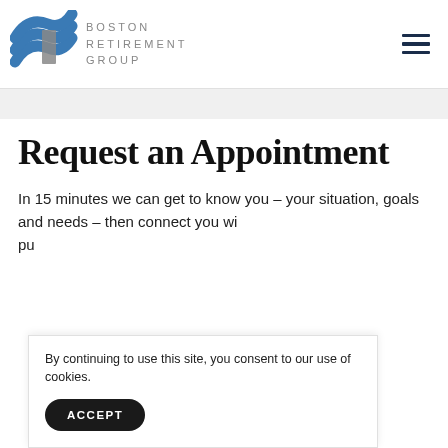[Figure (logo): Boston Retirement Group logo with blue wave/stripe graphic and grey lettering]
Request an Appointment
In 15 minutes we can get to know you – your situation, goals and needs – then connect you wi... pu...
By continuing to use this site, you consent to our use of cookies.
ACCEPT